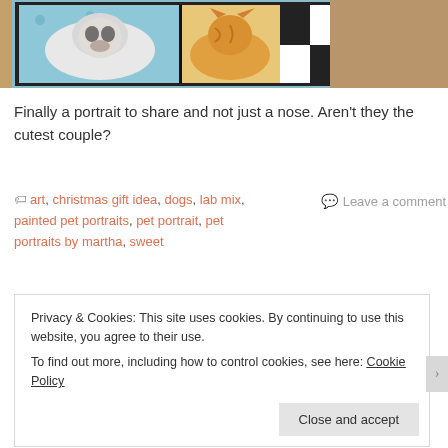[Figure (photo): A painted pet portrait of two animals (a white dog and an orange cat) in a frame, resting on a wicker/basket surface. The painting has a teal/blue background for the dog and a black and white checkered background for the cat.]
Finally a portrait to share and not just a nose. Aren't they the cutest couple?
art, christmas gift idea, dogs, lab mix, painted pet portraits, pet portrait, pet portraits by martha, sweet
Leave a comment
Privacy & Cookies: This site uses cookies. By continuing to use this website, you agree to their use.
To find out more, including how to control cookies, see here: Cookie Policy
Close and accept